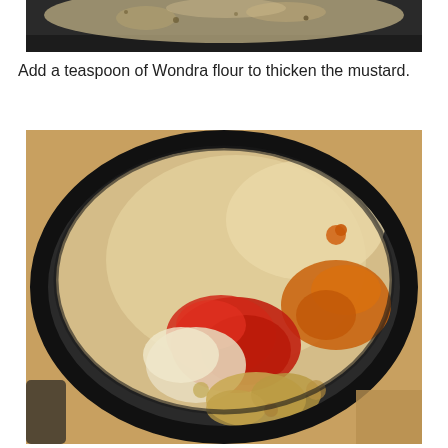[Figure (photo): Top portion of a cooking pan with food ingredients visible, cropped at top of page]
Add a teaspoon of Wondra flour to thicken the mustard.
[Figure (photo): A dark non-stick saucepan viewed from above containing a creamy beige liquid with spices including red paprika powder, dry mustard powder, and drops of liquid mustard added on top]